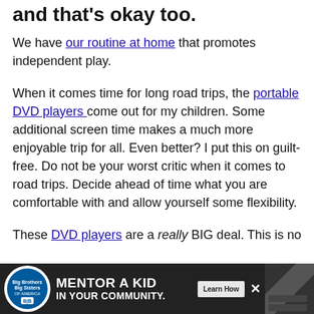and that's okay too.
We have our routine at home that promotes independent play.
When it comes time for long road trips, the portable DVD players come out for my children. Some additional screen time makes a much more enjoyable trip for all. Even better? I put this on guilt-free. Do not be your worst critic when it comes to road trips. Decide ahead of time what you are comfortable with and allow yourself some flexibility.
These DVD players are a really BIG deal. This is no...
[Figure (other): Big Brothers Big Sisters advertisement banner: MENTOR A KID IN YOUR COMMUNITY. Learn How button.]